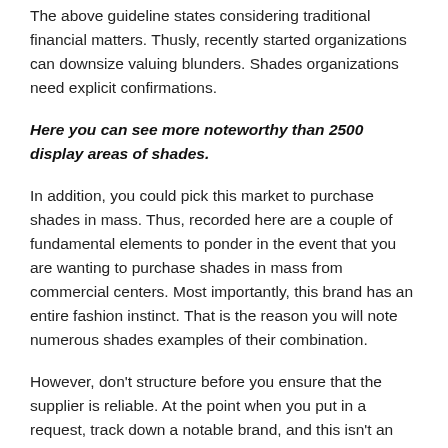The above guideline states considering traditional financial matters. Thusly, recently started organizations can downsize valuing blunders. Shades organizations need explicit confirmations.
Here you can see more noteworthy than 2500 display areas of shades.
In addition, you could pick this market to purchase shades in mass. Thus, recorded here are a couple of fundamental elements to ponder in the event that you are wanting to purchase shades in mass from commercial centers. Most importantly, this brand has an entire fashion instinct. That is the reason you will note numerous shades examples of their combination.
However, don't structure before you ensure that the supplier is reliable. At the point when you put in a request, track down a notable brand, and this isn't an opportunity